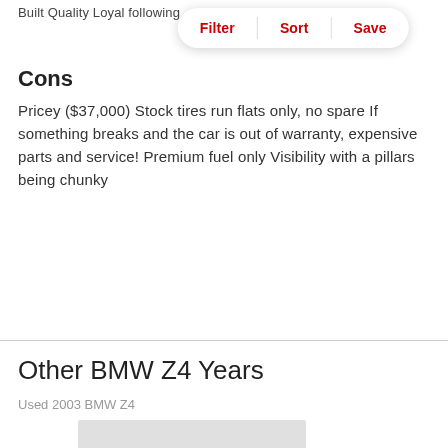Built Quality Loyal following
[Figure (other): Filter / Sort / Save button bar overlay]
Cons
Pricey ($37,000) Stock tires run flats only, no spare If something breaks and the car is out of warranty, expensive parts and service! Premium fuel only Visibility with a pillars being chunky
Other BMW Z4 Years
Used 2003 BMW Z4
[Figure (photo): Gray placeholder image for Used 2003 BMW Z4]